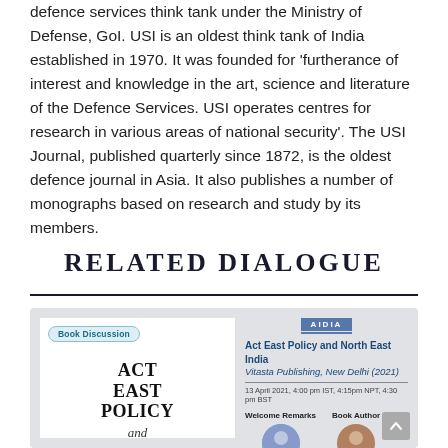defence services think tank under the Ministry of Defense, GoI. USI is an oldest think tank of India established in 1970. It was founded for 'furtherance of interest and knowledge in the art, science and literature of the Defence Services. USI operates centres for research in various areas of national security'. The USI Journal, published quarterly since 1872, is the oldest defence journal in Asia. It also publishes a number of monographs based on research and study by its members.
RELATED DIALOGUE
[Figure (other): Book discussion event card for 'Act East Policy and North East India' by Vitasta Publishing, New Delhi (2021), organized by AIDIA on 13 April 2021. Shows book cover on left with 'Book Discussion' tag, and event details with speaker photos on right.]